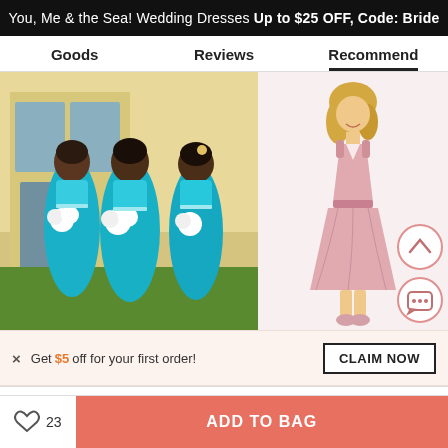You, Me & the Sea! Wedding Dresses Up to $25 OFF, Code: Bride
Goods   Reviews   Recommend
[Figure (photo): Three women wearing long teal/turquoise bridesmaid dresses holding white bouquets, standing outside a building on grass.]
[Figure (photo): A model wearing a short knee-length blush pink chiffon dress with a V-neckline and skirt flare, standing against a white background.]
× Get $5 off for your first order!
CLAIM NOW
23
ADD TO BAG